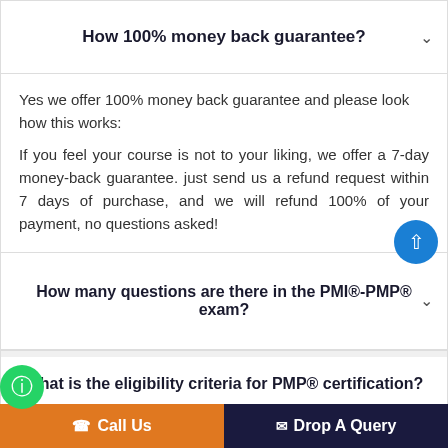How 100% money back guarantee?
Yes we offer 100% money back guarantee and please look how this works:
If you feel your course is not to your liking, we offer a 7-day money-back guarantee. just send us a refund request within 7 days of purchase, and we will refund 100% of your payment, no questions asked!
How many questions are there in the PMI®-PMP® exam?
What is the eligibility criteria for PMP® certification?
How ...
Call Us   Drop A Query